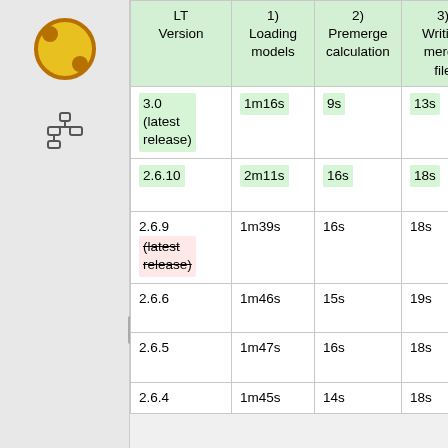| LT Version | 1) Loading models | 2) Premerge calculation | 3) Writing merge file | Ma RA usa |
| --- | --- | --- | --- | --- |
| 3.0 (latest release) | 1m16s | 9s | 13s | 7.x ME |
| 2.6.10 | 2m11s | 16s | 18s | 5.x ME |
| 2.6.9 (latest release) [strikethrough] | 1m39s | 16s | 18s | 5.4 ME |
| 2.6.6 | 1m46s | 15s | 19s | 5.4 ME |
| 2.6.5 | 1m47s | 16s | 18s | 5.3 ME |
| 2.6.4 | 1m45s | 14s | 18s | 5.4 |